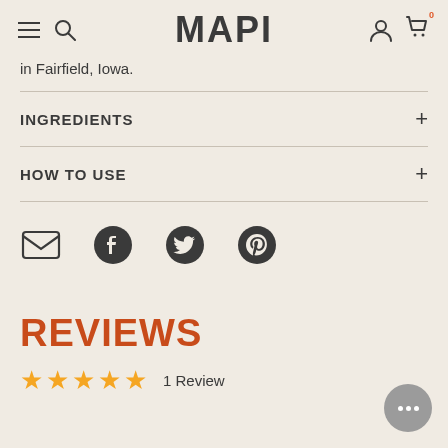MAPI
in Fairfield, Iowa.
INGREDIENTS
HOW TO USE
[Figure (other): Social sharing icons: email, Facebook, Twitter, Pinterest]
REVIEWS
★★★★★  1 Review